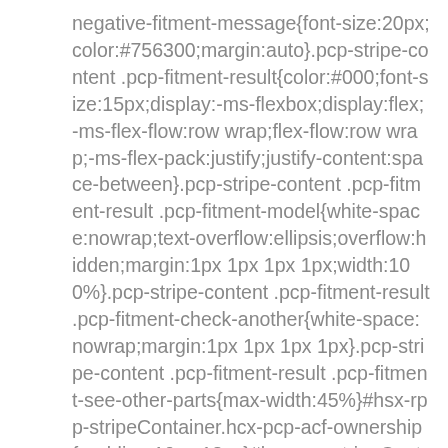negative-fitment-message{font-size:20px;color:#756300;margin:auto}.pcp-stripe-content .pcp-fitment-result{color:#000;font-size:15px;display:-ms-flexbox;display:flex;-ms-flex-flow:row wrap;flex-flow:row wrap;-ms-flex-pack:justify;justify-content:space-between}.pcp-stripe-content .pcp-fitment-result .pcp-fitment-model{white-space:nowrap;text-overflow:ellipsis;overflow:hidden;margin:1px 1px 1px 1px;width:100%}.pcp-stripe-content .pcp-fitment-result .pcp-fitment-check-another{white-space:nowrap;margin:1px 1px 1px 1px}.pcp-stripe-content .pcp-fitment-result .pcp-fitment-see-other-parts{max-width:45%}#hsx-rpp-stripeContainer.hcx-pcp-acf-ownership{padding:10px 18px}#hsx-rpp-stripeContainer.hcx-pcp-acf-ownership .fitment-container{margin:0;padding:0 14px;height:70px}#hsx-rpp-stripeContainer.hcx-pcp-